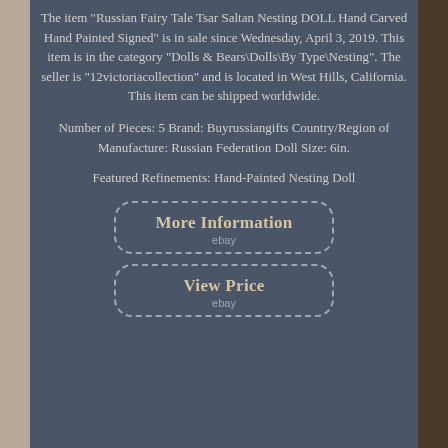The item "Russian Fairy Tale Tsar Saltan Nesting DOLL Hand Carved Hand Painted Signed" is in sale since Wednesday, April 3, 2019. This item is in the category "Dolls & Bears\Dolls\By Type\Nesting". The seller is "12victoriacollection" and is located in West Hills, California. This item can be shipped worldwide.
Number of Pieces: 5 Brand: Buyrussiangifts Country/Region of Manufacture: Russian Federation Doll Size: 6in.
Featured Refinements: Hand-Painted Nesting Doll
[Figure (other): Button with dashed border and rounded corners labeled 'More Information' with eBay logo text below]
[Figure (other): Button with dashed border and rounded corners labeled 'View Price' with eBay logo text below]